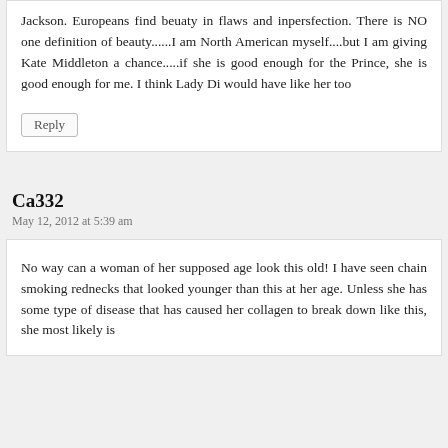Jackson. Europeans find beuaty in flaws and inpersfection. There is NO one definition of beauty......I am North American myself....but I am giving Kate Middleton a chance.....if she is good enough for the Prince, she is good enough for me. I think Lady Di would have like her too
Reply
Ca332
May 12, 2012 at 5:39 am
No way can a woman of her supposed age look this old! I have seen chain smoking rednecks that looked younger than this at her age. Unless she has some type of disease that has caused her collagen to break down like this, she most likely is